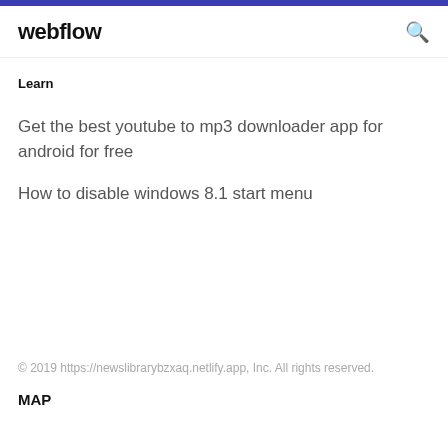webflow
Learn
Get the best youtube to mp3 downloader app for android for free
How to disable windows 8.1 start menu
© 2019 https://newslibrarybzxaq.netlify.app, Inc. All rights reserved.
MAP